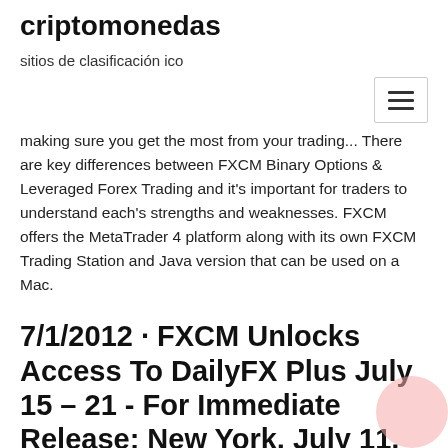criptomonedas
sitios de clasificación ico
making sure you get the most from your trading... There are key differences between FXCM Binary Options & Leveraged Forex Trading and it's important for traders to understand each's strengths and weaknesses. FXCM offers the MetaTrader 4 platform along with its own FXCM Trading Station and Java version that can be used on a Mac.
7/1/2012 · FXCM Unlocks Access To DailyFX Plus July 15 – 21 - For Immediate Release: New York, July 11, 2007. is